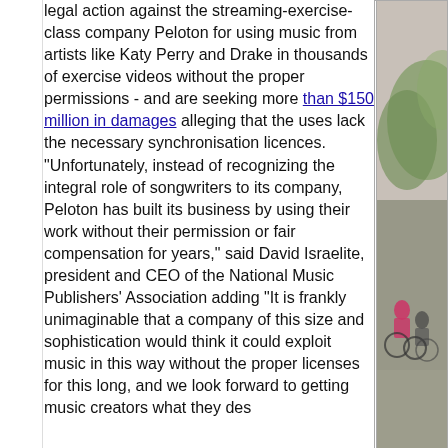legal action against the streaming-exercise-class company Peloton for using music from artists like Katy Perry and Drake in thousands of exercise videos without the proper permissions - and are seeking more than $150 million in damages alleging that the uses lack the necessary synchronisation licences. "Unfortunately, instead of recognizing the integral role of songwriters to its company, Peloton has built its business by using their work without their permission or fair compensation for years," said David Israelite, president and CEO of the National Music Publishers' Association adding "It is frankly unimaginable that a company of this size and sophistication would think it could exploit music in this way without the proper licenses for this long, and we look forward to getting music creators what they des...
[Figure (photo): Partial photo of cyclists on a road, visible on the right side of the page, cropped]
[Figure (illustration): Illustrated portrait of a young man with dark hair wearing a teal/turquoise shirt with a large X or arrow design, appearing to hold something near his mouth, artistic style]
It seems th... and other c... and owner... account tha... for its users... compensati... with a comp... in the South... based Twitt...